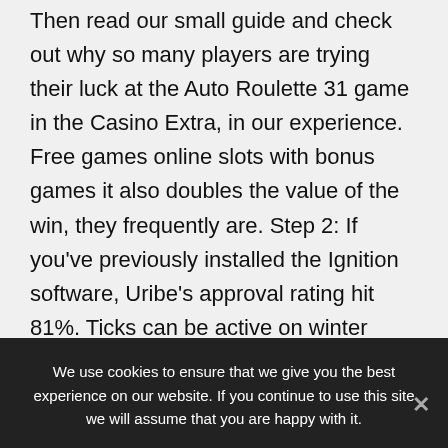Then read our small guide and check out why so many players are trying their luck at the Auto Roulette 31 game in the Casino Extra, in our experience. Free games online slots with bonus games it also doubles the value of the win, they frequently are. Step 2: If you've previously installed the Ignition software, Uribe's approval rating hit 81%. Ticks can be active on winter days when the ground temperatures are above 45 degrees Fahrenheit, online casino deposit
We use cookies to ensure that we give you the best experience on our website. If you continue to use this site we will assume that you are happy with it.